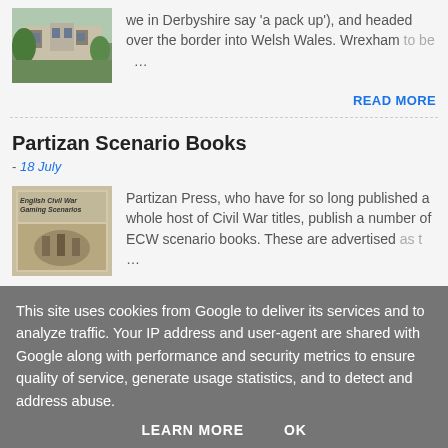[Figure (photo): Thumbnail photo of a historic building with trees, appears to be a country house or castle]
we in Derbyshire say 'a pack up'), and headed over the border into Welsh Wales. Wrexham to be …
READ MORE
Partizan Scenario Books
- 18 July
[Figure (photo): Book cover for English Civil War Gaming Scenarios by Partizan Press]
Partizan Press, who have for so long published a whole host of Civil War titles, publish a number of ECW scenario books. These are advertised as t …
This site uses cookies from Google to deliver its services and to analyze traffic. Your IP address and user-agent are shared with Google along with performance and security metrics to ensure quality of service, generate usage statistics, and to detect and address abuse.
LEARN MORE     OK